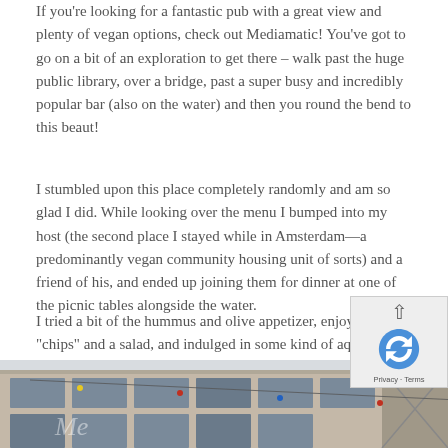If you’re looking for a fantastic pub with a great view and plenty of vegan options, check out Mediamatic! You’ve got to go on a bit of an exploration to get there – walk past the huge public library, over a bridge, past a super busy and incredibly popular bar (also on the water) and then you round the bend to this beaut!
I stumbled upon this place completely randomly and am so glad I did. While looking over the menu I bumped into my host (the second place I stayed while in Amsterdam—a predominantly vegan community housing unit of sorts) and a friend of his, and ended up joining them for dinner at one of the picnic tables alongside the water.
I tried a bit of the hummus and olive appetizer, enjoyed some “chips” and a salad, and indulged in some kind of aquafaba based meringue puff thingy for dessert.
It’s such a unique place (particularly because of the veg menu). Be sure to check it out!
[Figure (photo): Photo of Mediamatic venue exterior showing a building with large windows, decorative string lights, and signage partially visible. The image is cropped at the bottom of the page.]